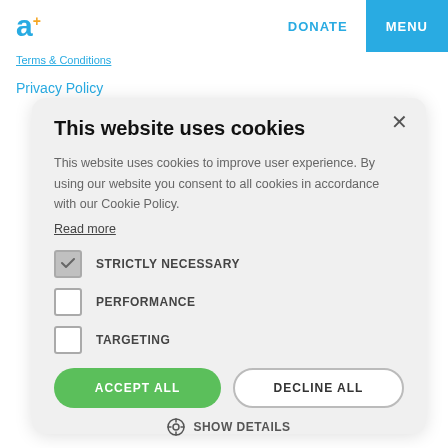a+ DONATE MENU
Terms & Conditions
Privacy Policy
This website uses cookies
This website uses cookies to improve user experience. By using our website you consent to all cookies in accordance with our Cookie Policy. Read more
STRICTLY NECESSARY
PERFORMANCE
TARGETING
ACCEPT ALL
DECLINE ALL
SHOW DETAILS